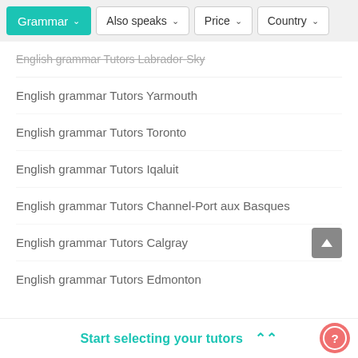Grammar | Also speaks | Price | Country
English grammar Tutors Labrador-Sky
English grammar Tutors Yarmouth
English grammar Tutors Toronto
English grammar Tutors Iqaluit
English grammar Tutors Channel-Port aux Basques
English grammar Tutors Calgray
English grammar Tutors Edmonton
Start selecting your tutors ⋀⋀